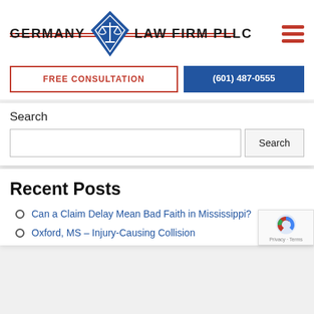[Figure (logo): Germany Law Firm PLLC logo with blue diamond containing scales of justice, red horizontal lines on either side, and text 'GERMANY LAW FIRM PLLC']
FREE CONSULTATION
(601) 487-0555
Search
Search
Recent Posts
Can a Claim Delay Mean Bad Faith in Mississippi?
Oxford, MS - Injury-Causing Collision